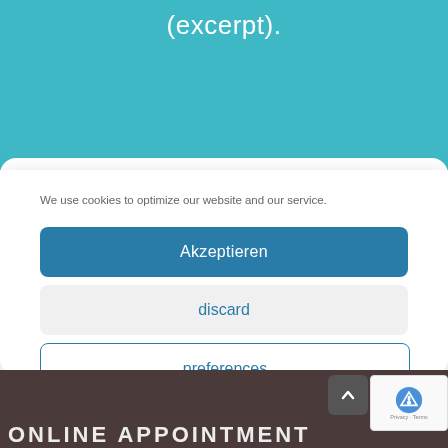(excerpt).
We use cookies to optimize our website and our service.
Akzeptieren
discard
preferences
Data Protection   Data Protection   Imprint
ONLINE APPOINTMENT